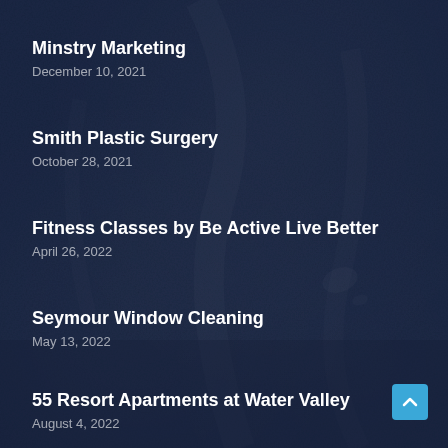[Figure (photo): Dark navy blue textured background resembling water or stone surface]
Minstry Marketing
December 10, 2021
Smith Plastic Surgery
October 28, 2021
Fitness Classes by Be Active Live Better
April 26, 2022
Seymour Window Cleaning
May 13, 2022
55 Resort Apartments at Water Valley
August 4, 2022